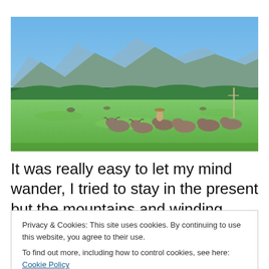[Figure (photo): A rural landscape with a herd of water buffalo grazing on a green field, a farmer herding them, lush trees and mountains in the background under a blue sky.]
It was really easy to let my mind wander, I tried to stay in the present but the mountains and winding roads took me
Privacy & Cookies: This site uses cookies. By continuing to use this website, you agree to their use.
To find out more, including how to control cookies, see here: Cookie Policy
was once again – NOT. In the shade of the little roadside